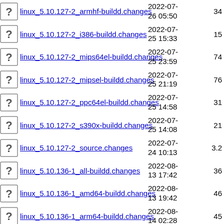linux_5.10.127-2_armhf-buildd.changes  2022-07-26 05:50  34
linux_5.10.127-2_i386-buildd.changes  2022-07-25 15:33  15
linux_5.10.127-2_mips64el-buildd.changes  2022-07-25 23:59  74
linux_5.10.127-2_mipsel-buildd.changes  2022-07-25 21:19  76
linux_5.10.127-2_ppc64el-buildd.changes  2022-07-25 14:58  31
linux_5.10.127-2_s390x-buildd.changes  2022-07-25 14:08  21
linux_5.10.127-2_source.changes  2022-07-24 10:13  3.2
linux_5.10.136-1_all-buildd.changes  2022-08-13 17:42  36
linux_5.10.136-1_amd64-buildd.changes  2022-08-13 19:42  46
linux_5.10.136-1_arm64-buildd.changes  2022-08-14 02:28  45
linux_5.10.136-1_armel-buildd.changes  2022-08-14 01:48  62
linux_5.10.136-1_armhf-buildd.changes  2022-08-  65